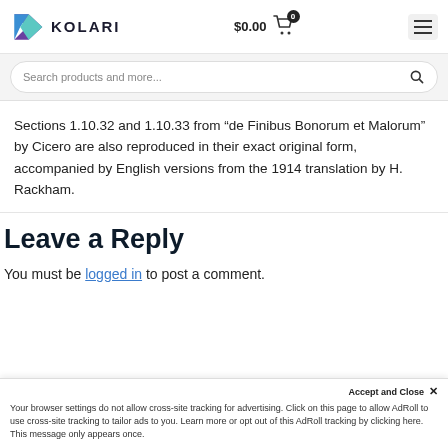KOLARI  $0.00  0
Search products and more...
Sections 1.10.32 and 1.10.33 from “de Finibus Bonorum et Malorum” by Cicero are also reproduced in their exact original form, accompanied by English versions from the 1914 translation by H. Rackham.
Leave a Reply
You must be logged in to post a comment.
Accept and Close ×
Your browser settings do not allow cross-site tracking for advertising. Click on this page to allow AdRoll to use cross-site tracking to tailor ads to you. Learn more or opt out of this AdRoll tracking by clicking here. This message only appears once.